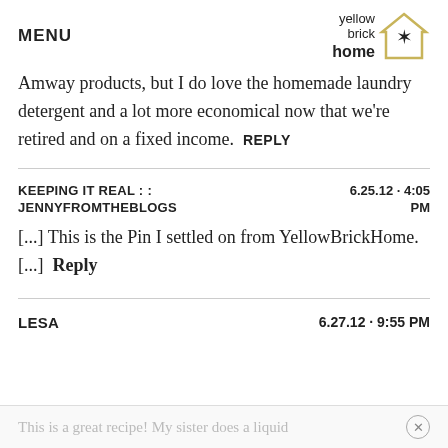MENU | yellow brick home [logo]
Amway products, but I do love the homemade laundry detergent and a lot more economical now that we're retired and on a fixed income.  REPLY
KEEPING IT REAL : : JENNYFROMTHEBLOGS   6.25.12 · 4:05 PM
[...] This is the Pin I settled on from YellowBrickHome. [...]  Reply
LESA   6.27.12 · 9:55 PM
This is a great recipe! My sister does a liquid